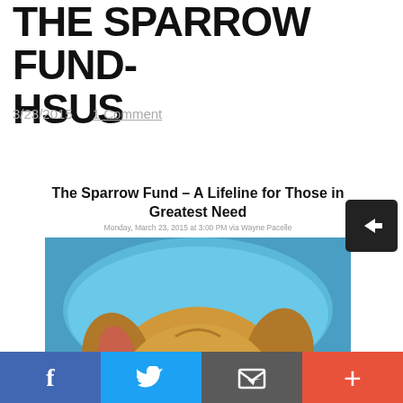THE SPARROW FUND- HSUS
3/23/2015    1 Comment
The Sparrow Fund – A Lifeline for Those in Greatest Need
Monday, March 23, 2015 at 3:00 PM via Wayne Pacelle
[Figure (photo): Close-up photo of a golden/tan fluffy puppy with blue eyes lying on a blue pillow, wearing a dark collar]
The Sparrow Fund exists to help animals in need, like Phoenix, a five-month-old husky puppy who was found on fire in a dumpster.